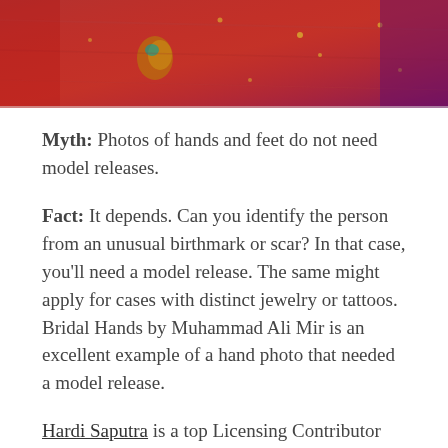[Figure (photo): Close-up photo of bridal hands with red fabric, gold jewelry, and decorative embellishments against a red background with purple tones.]
Myth: Photos of hands and feet do not need model releases.
Fact: It depends. Can you identify the person from an unusual birthmark or scar? In that case, you'll need a model release. The same might apply for cases with distinct jewelry or tattoos. Bridal Hands by Muhammad Ali Mir is an excellent example of a hand photo that needed a model release.
Hardi Saputra is a top Licensing Contributor and a conceptual still-life artist. He rarely photographs people, but he does occasionally incorporate his